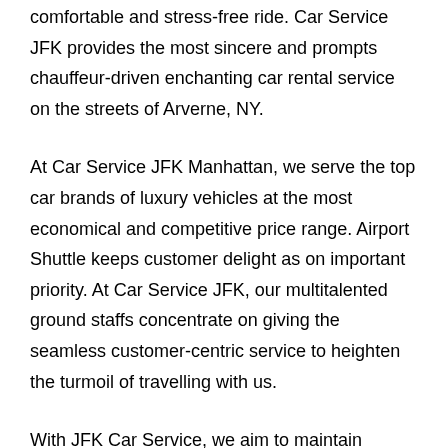comfortable and stress-free ride. Car Service JFK provides the most sincere and prompts chauffeur-driven enchanting car rental service on the streets of Arverne, NY.
At Car Service JFK Manhattan, we serve the top car brands of luxury vehicles at the most economical and competitive price range. Airport Shuttle keeps customer delight as on important priority. At Car Service JFK, our multitalented ground staffs concentrate on giving the seamless customer-centric service to heighten the turmoil of travelling with us.
With JFK Car Service, we aim to maintain punctuality and timely car service as a primary